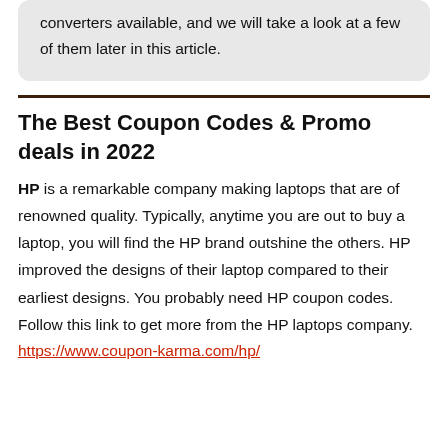converters available, and we will take a look at a few of them later in this article.
The Best Coupon Codes & Promo deals in 2022
HP is a remarkable company making laptops that are of renowned quality. Typically, anytime you are out to buy a laptop, you will find the HP brand outshine the others. HP improved the designs of their laptop compared to their earliest designs. You probably need HP coupon codes. Follow this link to get more from the HP laptops company.
https://www.coupon-karma.com/hp/